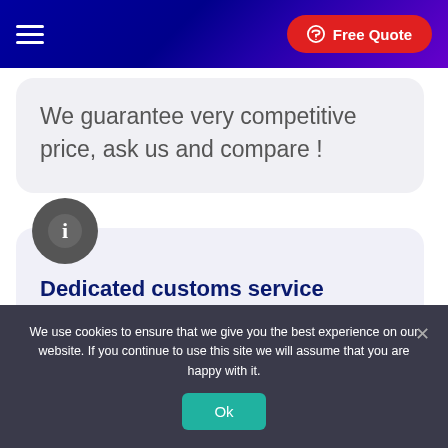Free Quote
We guarantee very competitive price, ask us and compare !
[Figure (illustration): Gray circular info icon with white letter 'i']
Dedicated customs service
Do not hesitate to contact us for
We use cookies to ensure that we give you the best experience on our website. If you continue to use this site we will assume that you are happy with it.